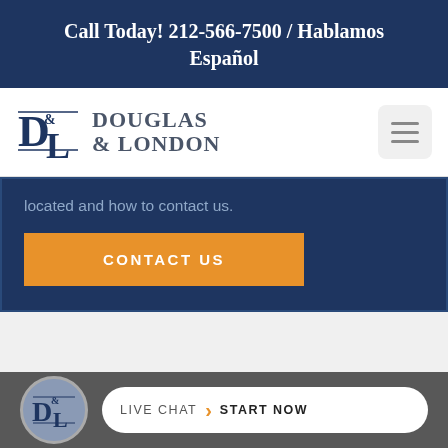Call Today! 212-566-7500 / Hablamos Español
[Figure (logo): Douglas & London law firm logo with D&L monogram icon and firm name text]
located and how to contact us.
CONTACT US
[Figure (logo): Douglas & London D&L circular icon in footer chat bar]
LIVE CHAT  START NOW